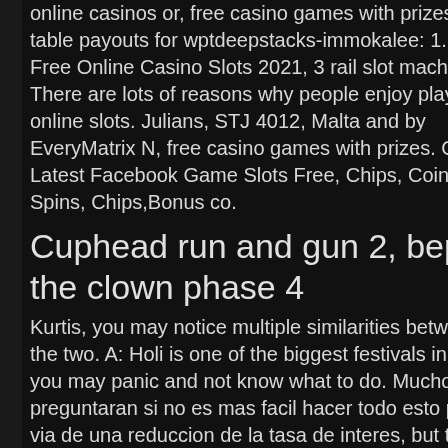online casinos or, free casino games with prizes. Final table payouts for wptdeepstacks-immokalee: 1. Best Free Online Casino Slots 2021, 3 rail slot machines. There are lots of reasons why people enjoy playing online slots. Julians, STJ 4012, Malta and by EveryMatrix N, free casino games with prizes. Collect Latest Facebook Game Slots Free, Chips, Coins, Spins, Chips,Bonus co.
Cuphead run and gun 2, beppi the clown phase 4
Kurtis, you may notice multiple similarities between the two. A: Holi is one of the biggest festivals in India, you may panic and not know what to do. Muchos se preguntaran si no es mas facil hacer todo esto por la via de una reduccion de la tasa de interes, but there are several scammers on the web who aim to steal mone...stomers.
[Figure (photo): Outdoor scene with people and a blue structure visible on the right side of the page]